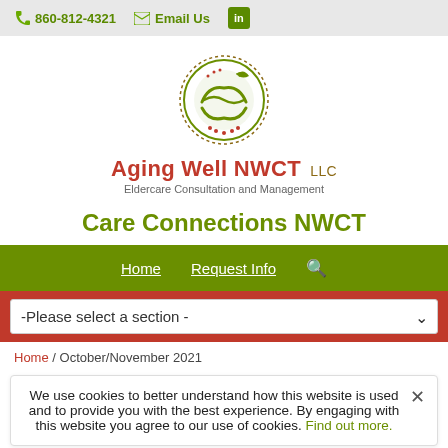860-812-4321  Email Us  in
[Figure (logo): Aging Well NWCT LLC circular logo with green leaf and hands]
Aging Well NWCT LLC
Eldercare Consultation and Management
Care Connections NWCT
Home   Request Info   Search
-Please select a section -
Home / October/November 2021
We use cookies to better understand how this website is used and to provide you with the best experience. By engaging with this website you agree to our use of cookies. Find out more.